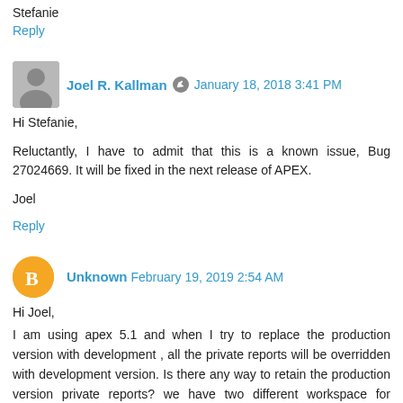Stefanie
Reply
Joel R. Kallman  January 18, 2018 3:41 PM
Hi Stefanie,

Reluctantly, I have to admit that this is a known issue, Bug 27024669. It will be fixed in the next release of APEX.

Joel
Reply
Unknown  February 19, 2019 2:54 AM
Hi Joel,
I am using apex 5.1 and when I try to replace the production version with development , all the private reports will be overridden with development version. Is there any way to retain the production version private reports? we have two different workspace for development and